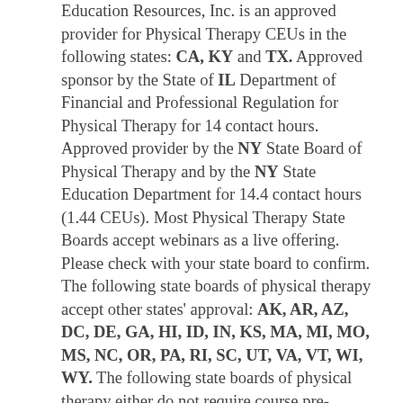Education Resources, Inc. is an approved provider for Physical Therapy CEUs in the following states: CA, KY and TX. Approved sponsor by the State of IL Department of Financial and Professional Regulation for Physical Therapy for 14 contact hours. Approved provider by the NY State Board of Physical Therapy and by the NY State Education Department for 14.4 contact hours (1.44 CEUs). Most Physical Therapy State Boards accept webinars as a live offering. Please check with your state board to confirm. The following state boards of physical therapy accept other states' approval: AK, AR, AZ, DC, DE, GA, HI, ID, IN, KS, MA, MI, MO, MS, NC, OR, PA, RI, SC, UT, VA, VT, WI, WY. The following state boards of physical therapy either do not require course pre-